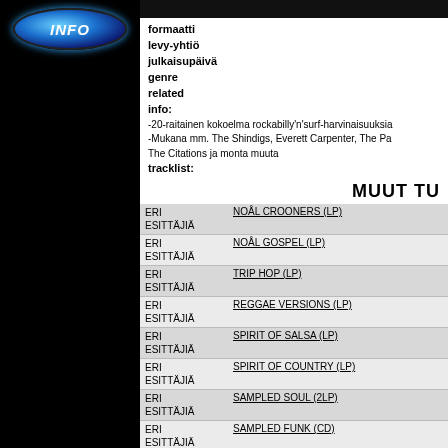[Figure (illustration): Black left panel with blue glowing INFO button at top]
formaatti
levy-yhtiö
julkaisupäivä
genre
related
info:
-20-raitainen kokoelma rockabilly'n'surf-harvinaisuuksia
-Mukana mm. The Shindigs, Everett Carpenter, The Pa
The Citations ja monta muuta
tracklist:
MUUT TU
| Artist | Title |
| --- | --- |
| ERI ESITTÄJIÄ | NOÅL CROONERS (LP) |
| ERI ESITTÄJIÄ | NOÅL GOSPEL (LP) |
| ERI ESITTÄJIÄ | TRIP HOP (LP) |
| ERI ESITTÄJIÄ | REGGAE VERSIONS (LP) |
| ERI ESITTÄJIÄ | SPIRIT OF SALSA (LP) |
| ERI ESITTÄJIÄ | SPIRIT OF COUNTRY (LP) |
| ERI ESITTÄJIÄ | SAMPLED SOUL (2LP) |
| ERI ESITTÄJIÄ | SAMPLED FUNK (CD) |
| ERI ESITTÄJIÄ | SAMPLED SOUL (CD) |
| ERI ESITTÄJIÄ | SO FRENCHY! (LP COL) |